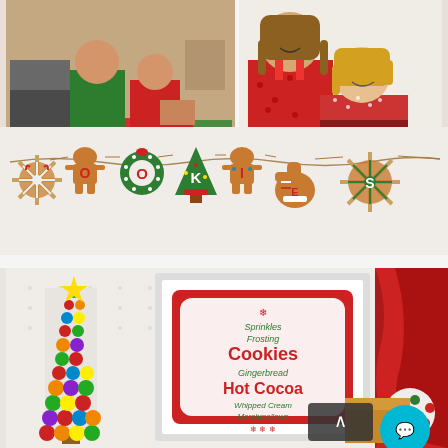[Figure (photo): Top collage: left image shows children and adults decorating cookies at a green table-clothed table with red plates; right image shows two girls in red Christmas aprons smiling at camera.]
[Figure (photo): Middle image: gingerbread cookie banner spelling 'COOKIES' hung on a string, decorated with colorful icing letters on gingerbread shapes including snowflakes, gingerbread men, Christmas trees, and mittens.]
[Figure (photo): Bottom image: Christmas party setup showing a gumdrop Christmas tree with yellow star on left, a framed sign in the center reading 'Sprinkles, Frosting, COOKIES, Gingerbread, HOT COCOA, Whipped Cream, Marshmallows' in red and green text, a red curtain on right, and a teal chat bubble UI element in bottom right corner.]